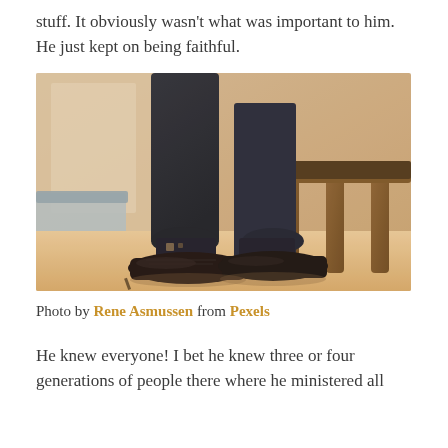stuff. It obviously wasn't what was important to him. He just kept on being faithful.
[Figure (photo): A person in dark trousers and black leather dress shoes seated on a wooden bench, with patterned socks visible, photographed from the knees down in a warm-toned interior setting.]
Photo by Rene Asmussen from Pexels
He knew everyone! I bet he knew three or four generations of people there where he ministered all